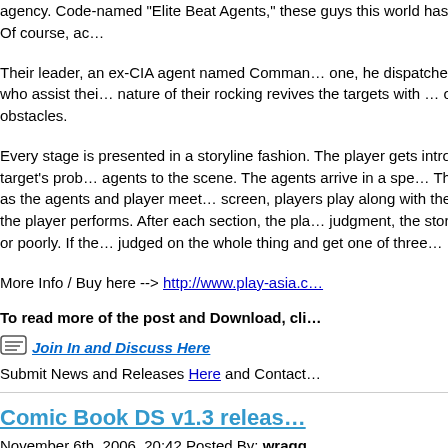agency. Code-named "Elite Beat Agents," these guys this world has ever known. Of course, ac…
Their leader, an ex-CIA agent named Comman… one, he dispatches the agents, who assist thei… nature of their rocking revives the targets with … overcome their obstacles.
Every stage is presented in a storyline fashion. The player gets introduced to the target's prob… agents to the scene. The agents arrive in a spe… The song starts as the agents and player meet… screen, players play along with the song's rhyt… the player performs. After each section, the pla… judgment, the story will go well or poorly. If the… judged on the whole thing and get one of three…
More Info / Buy here --> http://www.play-asia.c…
To read more of the post and Download, cli…
Join In and Discuss Here
Submit News and Releases Here and Contact…
Comic Book DS v1.3 releas…
November 6th, 2006, 20:42 Posted By: wragg…